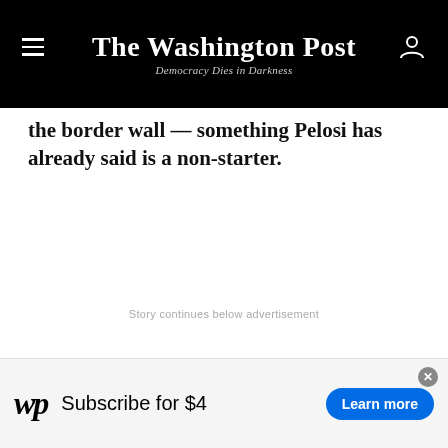The Washington Post — Democracy Dies in Darkness
the border wall — something Pelosi has already said is a non-starter.
Story continues below advertisement
[Figure (other): Washington Post subscription advertisement banner: WP logo, 'Subscribe for $4', 'Learn more' button]